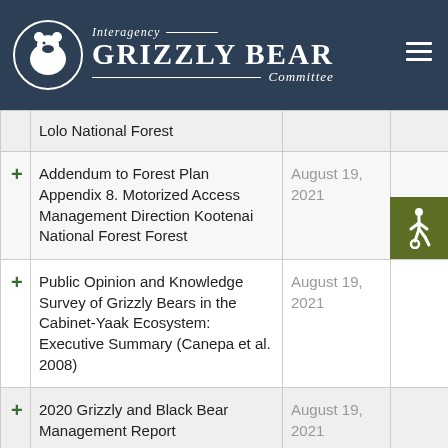Interagency Grizzly Bear Committee
| Title | Date |  |
| --- | --- | --- |
| Lolo National Forest |  |  |
| Addendum to Forest Plan Appendix 8. Motorized Access Management Direction Kootenai National Forest Forest | August 19, 2021 |  |
| Public Opinion and Knowledge Survey of Grizzly Bears in the Cabinet-Yaak Ecosystem: Executive Summary (Canepa et al. 2008) | August 19, 2021 |  |
| 2020 Grizzly and Black Bear Management Report | August 19, 2021 |  |